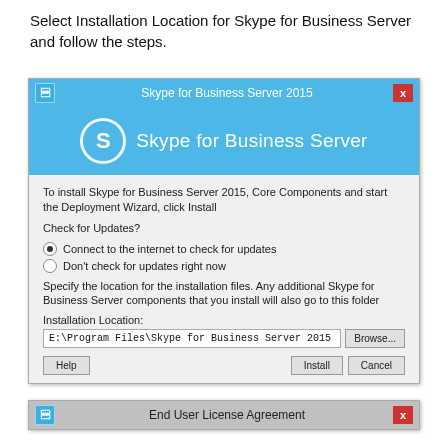Select Installation Location for Skype for Business Server and follow the steps.
[Figure (screenshot): Skype for Business Server 2015 installer dialog showing installation location selection with radio buttons for update check options and a path field showing E:\Program Files\Skype for Business Server 2015]
[Figure (screenshot): End User License Agreement dialog title bar (partially visible)]